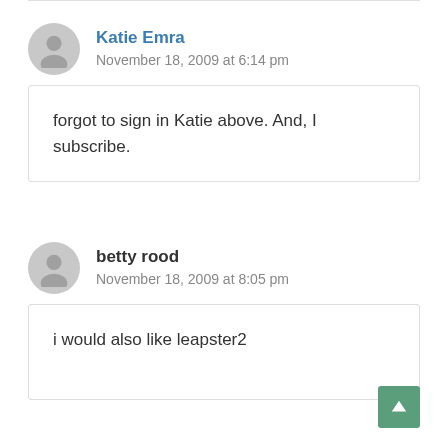Katie Emra
November 18, 2009 at 6:14 pm
forgot to sign in Katie above. And, I subscribe.
betty rood
November 18, 2009 at 8:05 pm
i would also like leapster2